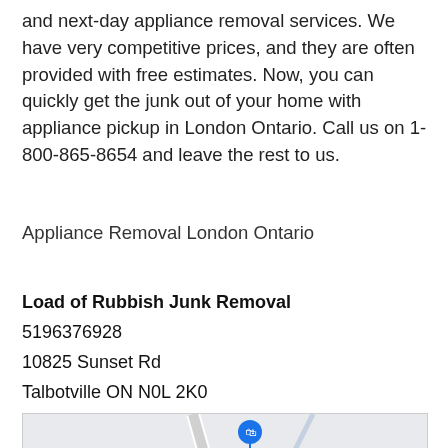and next-day appliance removal services. We have very competitive prices, and they are often provided with free estimates. Now, you can quickly get the junk out of your home with appliance pickup in London Ontario. Call us on 1-800-865-8654 and leave the rest to us.
Appliance Removal London Ontario
Load of Rubbish Junk Removal
5196376928
10825 Sunset Rd
Talbotville ON N0L 2K0
[Figure (map): Google Maps embed showing location of Load of Rubbish Junk Removal at 10825 Sunset Rd, Talbotville ON, with The Turkey Shoppe nearby. Map shows roads and a location pin.]